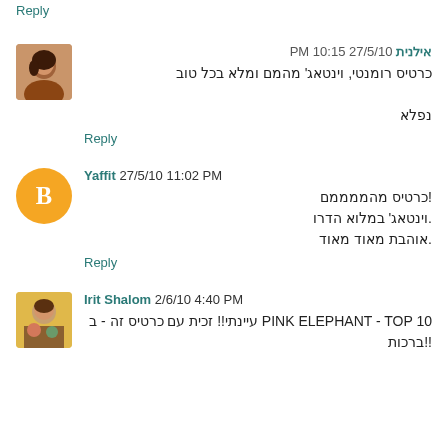Reply
אילנית 27/5/10 10:15 PM
כרטיס רומנטי, וינטאג' מהמם ומלא בכל טוב

נפלא
Reply
Yaffit 27/5/10 11:02 PM
כרטיס מהממממם!
.וינטאג' במלוא הדרו
.אוהבת מאוד מאוד
Reply
Irit Shalom 2/6/10 4:40 PM
PINK ELEPHANT - TOP 10 עיינתי!! זכית עם כרטיס זה - ב
!!ברכות